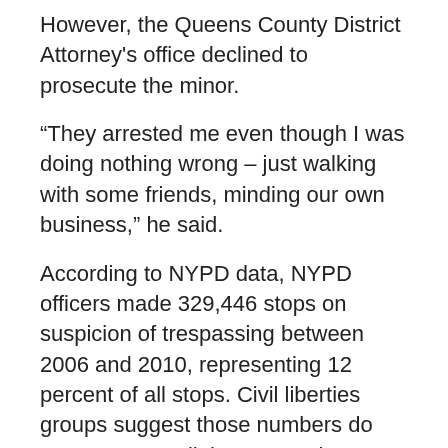However, the Queens County District Attorney's office declined to prosecute the minor.
“They arrested me even though I was doing nothing wrong – just walking with some friends, minding our own business,” he said.
According to NYPD data, NYPD officers made 329,446 stops on suspicion of trespassing between 2006 and 2010, representing 12 percent of all stops. Civil liberties groups suggest those numbers do not represent all the stops. The statistics also show that only 7.5 percent of reported trespass stops ended in arrests. “The 10 precincts with the most trespassing stops in 2010 – at least 28,209 stops – accounted for nearly as many stops as reported in the remaining 66 precincts combined. More than 5,000 people were stopped for suspicion of